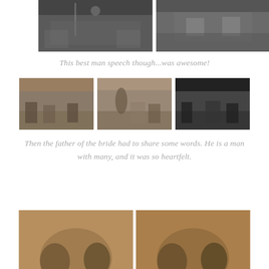[Figure (photo): Two side-by-side black and white wedding reception photos: left shows best man giving a speech at head table with guests listening; right shows guests toasting with drinks raised.]
This best man speech though...was awesome!
[Figure (photo): Three side-by-side wedding reception photos showing the father of the bride giving a speech: left color photo shows guests at tables with floral backdrop, center shows father speaking with bride and groom seated, right is black and white showing the same scene.]
Then the father of the bride had to share some words. He is a man with many, and it was so heartfelt.
[Figure (photo): Two side-by-side wedding photos with warm golden/orange tinted background showing the bride and groom and another couple, cropped at top of page bottom.]